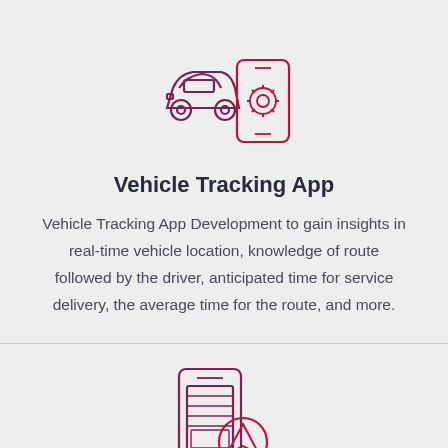[Figure (illustration): Icon of a car with a smartphone showing a gear/settings icon, in dark red/maroon line art style]
Vehicle Tracking App
Vehicle Tracking App Development to gain insights in real-time vehicle location, knowledge of route followed by the driver, anticipated time for service delivery, the average time for the route, and more.
[Figure (illustration): Icon of a smartphone with a navigation/location arrow icon overlaid in a circle, in dark red/maroon line art style]